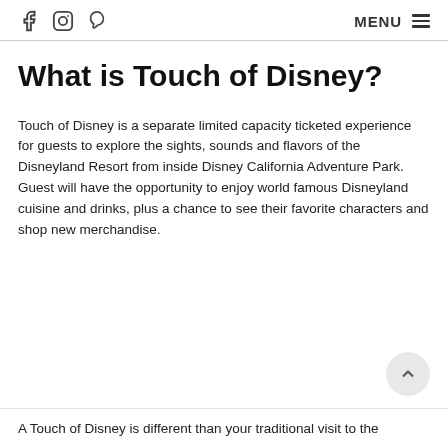f [instagram] [pinterest] MENU
What is Touch of Disney?
Touch of Disney is a separate limited capacity ticketed experience for guests to explore the sights, sounds and flavors of the Disneyland Resort from inside Disney California Adventure Park. Guest will have the opportunity to enjoy world famous Disneyland cuisine and drinks, plus a chance to see their favorite characters and shop new merchandise.
A Touch of Disney is different than your traditional visit to the